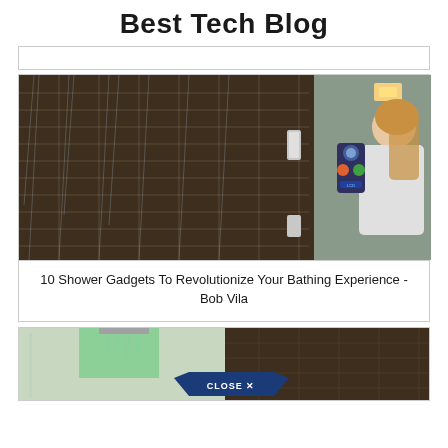Best Tech Blog
[Figure (photo): Navigation bar / ad banner strip]
[Figure (photo): Woman interacting with a high-tech shower control panel on tiled bathroom wall]
10 Shower Gadgets To Revolutionize Your Bathing Experience - Bob Vila
[Figure (photo): Modern bathroom shower with green LED lighting and ceiling rainfall showerhead, partially obscured by a CLOSE X button overlay]